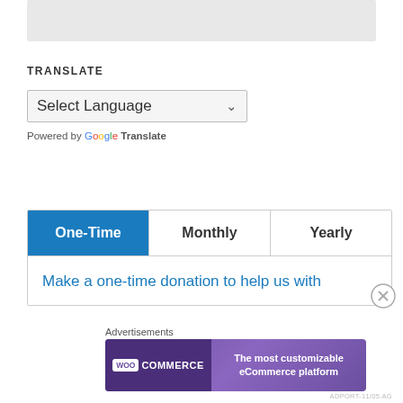[Figure (screenshot): Gray rounded rectangle at top of page, likely a partially visible UI element or image placeholder]
TRANSLATE
[Figure (screenshot): Select Language dropdown UI element with down arrow, styled as a form control]
Powered by Google Translate
| One-Time | Monthly | Yearly |
| --- | --- | --- |
| Make a one-time donation to help us with |  |  |
[Figure (screenshot): WooCommerce advertisement banner: 'The most customizable eCommerce platform']
Advertisements